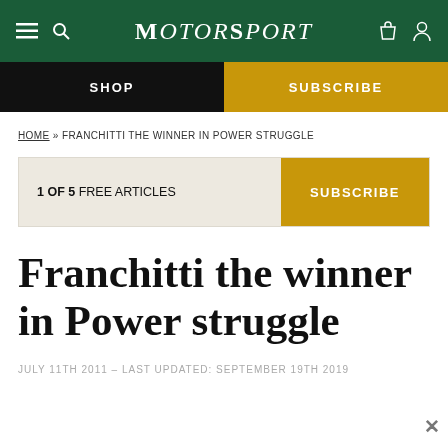MotorSport
SHOP | SUBSCRIBE
HOME » FRANCHITTI THE WINNER IN POWER STRUGGLE
1 OF 5 FREE ARTICLES   SUBSCRIBE
Franchitti the winner in Power struggle
JULY 11TH 2011 – LAST UPDATED: SEPTEMBER 19TH 2019